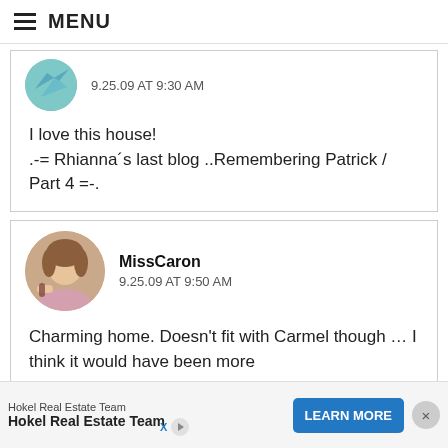MENU
9.25.09 AT 9:30 AM
I love this house!
.-= Rhianna's last blog ..Remembering Patrick / Part 4 =-.
MissCaron
9.25.09 AT 9:50 AM
Charming home. Doesn't fit with Carmel though … I think it would have been more a w